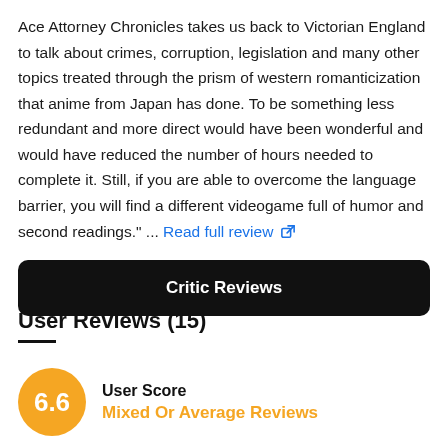Ace Attorney Chronicles takes us back to Victorian England to talk about crimes, corruption, legislation and many other topics treated through the prism of western romanticization that anime from Japan has done. To be something less redundant and more direct would have been wonderful and would have reduced the number of hours needed to complete it. Still, if you are able to overcome the language barrier, you will find a different videogame full of humor and second readings." ... Read full review
Critic Reviews
User Reviews (15)
User Score
Mixed Or Average Reviews
6.6